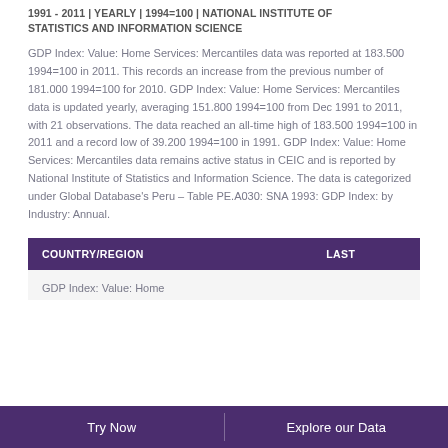1991 - 2011 | YEARLY | 1994=100 | NATIONAL INSTITUTE OF STATISTICS AND INFORMATION SCIENCE
GDP Index: Value: Home Services: Mercantiles data was reported at 183.500 1994=100 in 2011. This records an increase from the previous number of 181.000 1994=100 for 2010. GDP Index: Value: Home Services: Mercantiles data is updated yearly, averaging 151.800 1994=100 from Dec 1991 to 2011, with 21 observations. The data reached an all-time high of 183.500 1994=100 in 2011 and a record low of 39.200 1994=100 in 1991. GDP Index: Value: Home Services: Mercantiles data remains active status in CEIC and is reported by National Institute of Statistics and Information Science. The data is categorized under Global Database's Peru – Table PE.A030: SNA 1993: GDP Index: by Industry: Annual.
| COUNTRY/REGION | LAST |
| --- | --- |
| GDP Index: Value: Home |  |
Try Now
Explore our Data